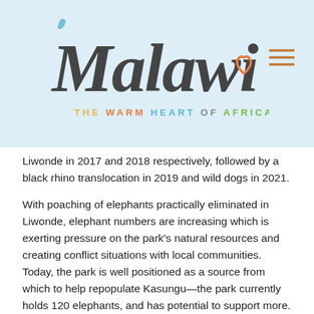[Figure (logo): Malawi tourism logo with stylized cursive text 'Malawi' with a heart symbol and tagline 'THE WARM HEART OF AFRICA' in multicolored letters on a light blue background]
Liwonde in 2017 and 2018 respectively, followed by a black rhino translocation in 2019 and wild dogs in 2021.
With poaching of elephants practically eliminated in Liwonde, elephant numbers are increasing which is exerting pressure on the park's natural resources and creating conflict situations with local communities. Today, the park is well positioned as a source from which to help repopulate Kasungu—the park currently holds 120 elephants, and has potential to support more. This addition of 250 elephants will ensure the population is viable for the long-term conservation of elephants in Kasungu.